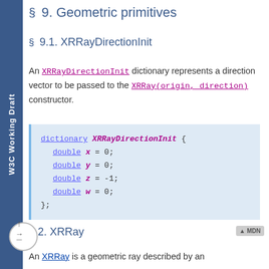§ 9. Geometric primitives
§ 9.1. XRRayDirectionInit
An XRRayDirectionInit dictionary represents a direction vector to be passed to the XRRay(origin, direction) constructor.
dictionary XRRayDirectionInit {
    double x = 0;
    double y = 0;
    double z = -1;
    double w = 0;
};
9.2. XRRay
An XRRay is a geometric ray described by an